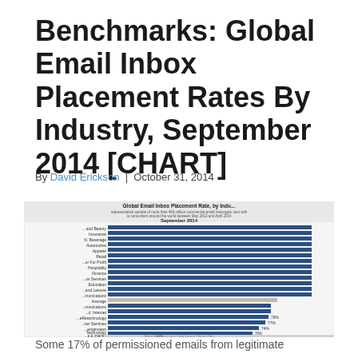Benchmarks: Global Email Inbox Placement Rates By Industry, September 2014 [CHART]
By David Erickson | October 31, 2014
[Figure (bar-chart): Horizontal bar chart showing global email inbox placement rates by industry for September 2014. Industries ranked from highest to lowest placement rate. Top industries near 100%, including Retail and Beauty, Insurance, Food & Beverage, Automotive, Apparel, Retail, Not-for-Profit, Hospitality, Finance, Business Services, Education, Travel and Leisure, Communications, Average. Lower performers include Communications, Broadband/Internet, eRetechnology, Consumer Services (77%), Entertainment (74%), Technology (70%), Cable & Internet (63%).]
Some 17% of permissioned emails from legitimate